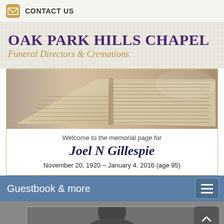CONTACT US
OAK PARK HILLS CHAPEL
Funeral Directors & Cremations
[Figure (photo): Open Bible/book with sepia tone, used as memorial header image]
Welcome to the memorial page for
Joel N Gillespie
November 20, 1920 ~ January 4, 2016 (age 95)
Guestbook & more
[Figure (photo): Partial portrait photograph visible at bottom of page]